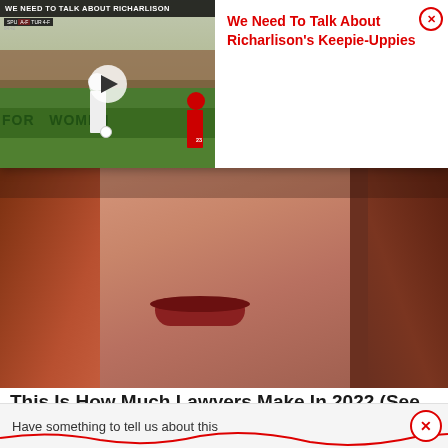[Figure (screenshot): Video popup overlay: thumbnail of a soccer/football match (Tottenham vs opponent on green pitch, player in white with ball, player in red #23) with play button, title bar reading 'WE NEED TO TALK ABOUT RICHARLISON', and text panel beside it in red reading 'We Need To Talk About Richarlison's Keepie-Uppies' with a close X button.]
[Figure (photo): Close-up photograph of a woman with long auburn/red hair, showing her face from nose down with lips visible, dark background.]
This Is How Much Lawyers Make In 2022 (See Their Salary).
Attorneys | Search Ads | Sponsored
Have something to tell us about this